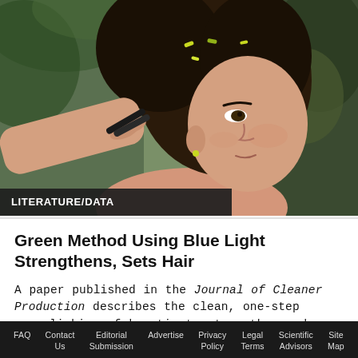[Figure (photo): A woman having her hair styled with clips, set against a background with green plants. A hand holds a hair clip near her ear. The woman has brown hair and a calm expression.]
LITERATURE/DATA
Green Method Using Blue Light Strengthens, Sets Hair
A paper published in the Journal of Cleaner Production describes the clean, one-step crosslinking of keratin to strengthen and set...
Jun 7th, 2022
FAQ  Contact Us  Editorial Submission  Advertise  Privacy Policy  Legal Terms  Scientific Advisors  Site Map